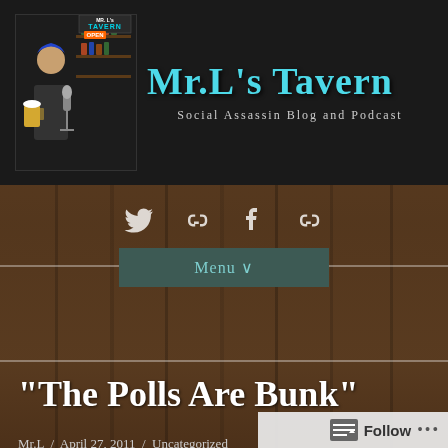Mr.L's Tavern — Social Assassin Blog and Podcast
[Figure (screenshot): Mr. L's Tavern blog header with logo, illustration of man with beer mug and microphone, neon sign reading OPEN, and site title in teal text on dark background]
[Figure (infographic): Social media icons: Twitter bird, chain/link icon, Facebook f, chain/link icon — displayed in white on wood background]
Menu ∨
"The Polls Are Bunk"
Mr.L  /  April 27, 2011  /  Uncategorized
In 2007 when Obama was losing terribly to Hillary in
Follow  ...